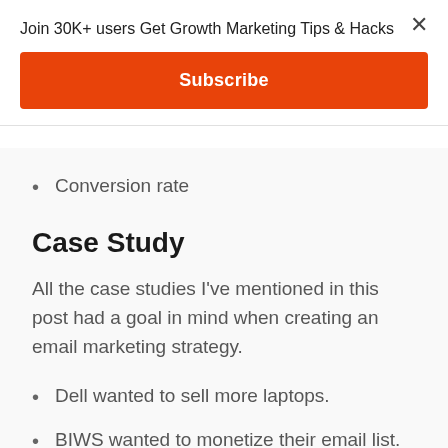Join 30K+ users Get Growth Marketing Tips & Hacks
Subscribe
Conversion rate
Case Study
All the case studies I've mentioned in this post had a goal in mind when creating an email marketing strategy.
Dell wanted to sell more laptops.
BIWS wanted to monetize their email list.